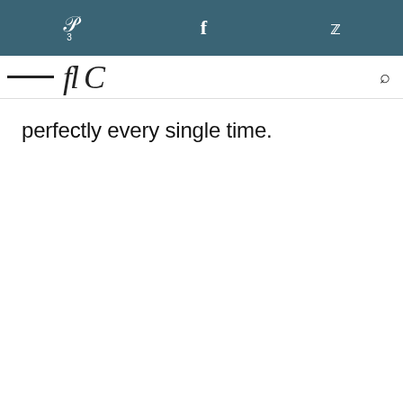Pinterest (3) | Facebook | Twitter
[Figure (screenshot): Partial navigation bar with a horizontal line, italic script logo text, and a search icon]
perfectly every single time.